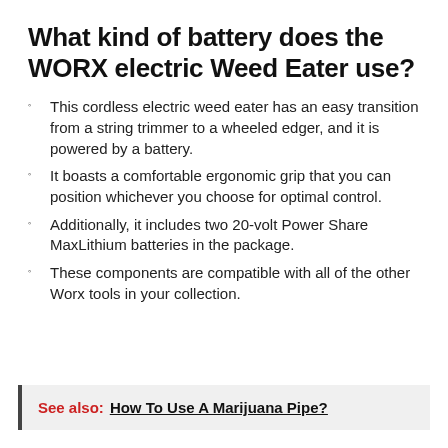What kind of battery does the WORX electric Weed Eater use?
This cordless electric weed eater has an easy transition from a string trimmer to a wheeled edger, and it is powered by a battery.
It boasts a comfortable ergonomic grip that you can position whichever you choose for optimal control.
Additionally, it includes two 20-volt Power Share MaxLithium batteries in the package.
These components are compatible with all of the other Worx tools in your collection.
See also:  How To Use A Marijuana Pipe?